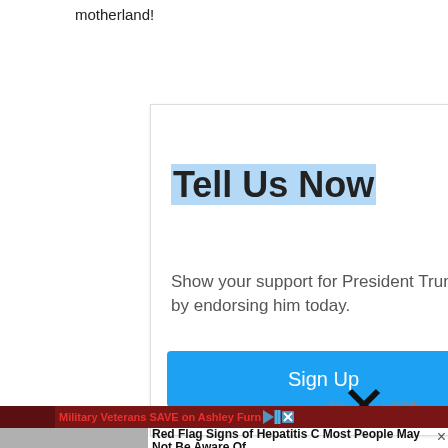motherland!
[Figure (screenshot): Advertisement box with 'Tell Us Now' headline highlighted in blue, body text 'Show your support for President Trump by endorsing him today.', sponsor 'Save America JFC', and a blue 'Sign Up' button. Ad icons (play/close) in top right. Ads by FatChilli with X close below.]
[Figure (screenshot): Bottom portion showing a military veterans Ashley Furniture ad bar in red, partially visible photo of a person's arm, and a 'Red Flag Signs of Hepatitis C Most People May Not Be Aware Of' ad with 'Hep C | Search Ads | Sponsored' and an X close button.]